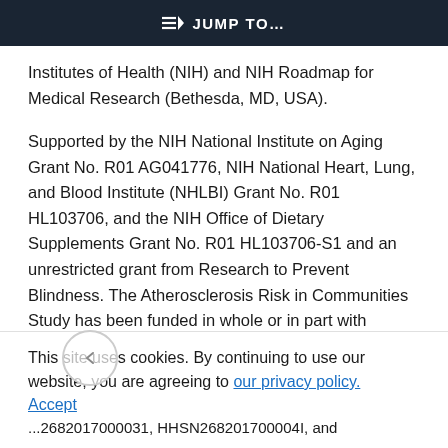⇒ JUMP TO…
Institutes of Health (NIH) and NIH Roadmap for Medical Research (Bethesda, MD, USA).
Supported by the NIH National Institute on Aging Grant No. R01 AG041776, NIH National Heart, Lung, and Blood Institute (NHLBI) Grant No. R01 HL103706, and the NIH Office of Dietary Supplements Grant No. R01 HL103706-S1 and an unrestricted grant from Research to Prevent Blindness. The Atherosclerosis Risk in Communities Study has been funded in whole or in part with
This site uses cookies. By continuing to use our website, you are agreeing to our privacy policy.
Accept
...2682017000031, HHSN268201700004I, and